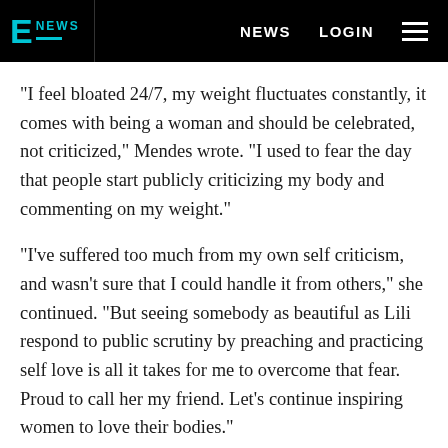E NEWS  NEWS  LOGIN
"I feel bloated 24/7, my weight fluctuates constantly, it comes with being a woman and should be celebrated, not criticized," Mendes wrote. "I used to fear the day that people start publicly criticizing my body and commenting on my weight."
"I've suffered too much from my own self criticism, and wasn't sure that I could handle it from others," she continued. "But seeing somebody as beautiful as Lili respond to public scrutiny by preaching and practicing self love is all it takes for me to overcome that fear. Proud to call her my friend. Let's continue inspiring women to love their bodies."